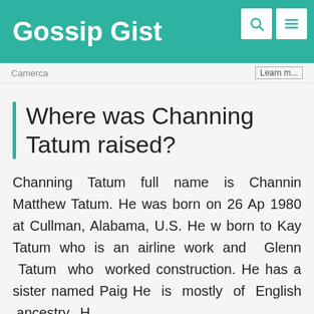Gossip Gist
Camerca   Learn m...
Where was Channing Tatum raised?
Channing Tatum full name is Channing Matthew Tatum. He was born on 26 April 1980 at Cullman, Alabama, U.S. He was born to Kay Tatum who is an airline worker and Glenn Tatum who worked in construction. He has a sister named Paige. He is mostly of English ancestry. H...